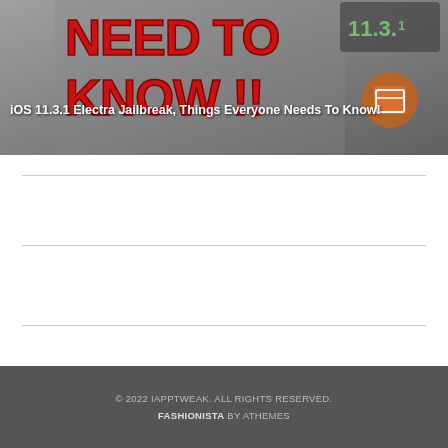[Figure (screenshot): Thumbnail image for 'iOS 11.3.1 Electra Jailbreak, Things Everyone Needs To Know!' article. Shows bold red text 'NEED TO KNOW !!' on the left side, and an iPhone displaying iOS 11.3.1 with a Cydia-like icon on the right.]
iOS 11.3.1 Electra Jailbreak, Things Everyone Needs To Know!
© 2022 IAPPTWEAK. ALL RIGHTS RESERVED.
FASHIONISTA BY ATHEMES